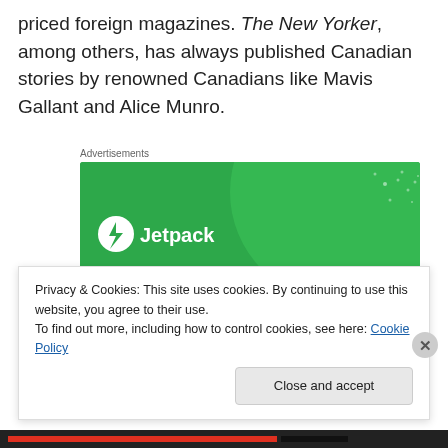priced foreign magazines. The New Yorker, among others, has always published Canadian stories by renowned Canadians like Mavis Gallant and Alice Munro.
Advertisements
[Figure (screenshot): Jetpack advertisement: green background with large circle design, Jetpack logo (lightning bolt in circle), text 'The best real-time WordPress backup plugin' in white bold text]
Privacy & Cookies: This site uses cookies. By continuing to use this website, you agree to their use.
To find out more, including how to control cookies, see here: Cookie Policy
Close and accept